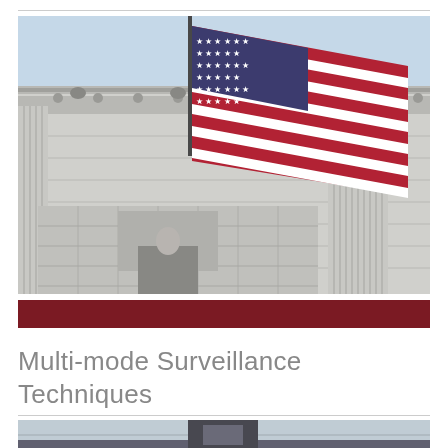[Figure (photo): US federal building with American flag waving in front of neoclassical columns and ornate stone facade]
Multi-mode Surveillance Techniques
[Figure (photo): Bottom portion of a surveillance or security scene, partially visible at bottom of page]